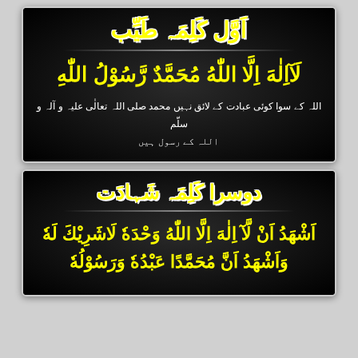[Figure (illustration): First Kalima (Tayyab) card with black background showing Arabic text 'La ilaha illallahu Muhammadur Rasulullah' in yellow Arabic calligraphy with Urdu translation below]
[Figure (illustration): Second Kalima (Shahadat) card with black background showing Arabic Shahada text in yellow calligraphy: Ash-hadu an la ilaha illallahu wahdahu la sharika lah, wa ash-hadu anna Muhammadan abduhu wa rasuluh]